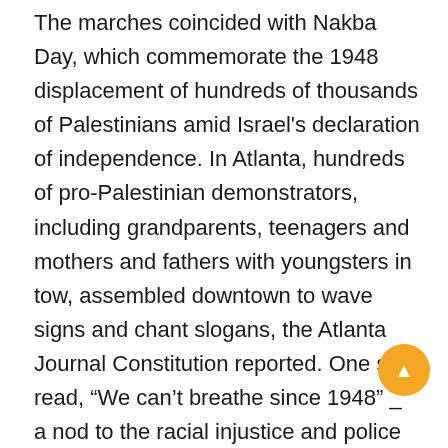The marches coincided with Nakba Day, which commemorate the 1948 displacement of hundreds of thousands of Palestinians amid Israel's declaration of independence. In Atlanta, hundreds of pro-Palestinian demonstrators, including grandparents, teenagers and mothers and fathers with youngsters in tow, assembled downtown to wave signs and chant slogans, the Atlanta Journal Constitution reported. One sign read, “We can’t breathe since 1948” _ a nod to the racial injustice and police brutality protests in the U.S. during the past year in the wake of George Floyd’s death in police custody after he couldn't breathe, the newspaper reported. In San Francisco, a raucous crowd banged drums and yelled “Palestine will be free” as they marched across the Mission district to Dolores Park. A similar scene played out in Boston as protesters walked a short distance from Copley Square to the Israeli Consulate in New England, blocking traffic. Footage on social media shows protesters unfurl a banner in